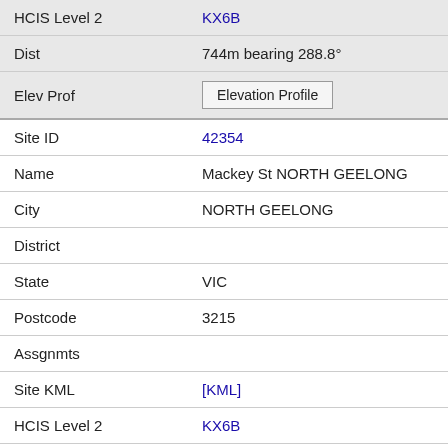| Field | Value |
| --- | --- |
| HCIS Level 2 | KX6B |
| Dist | 744m bearing 288.8° |
| Elev Prof | [Elevation Profile] |
| Site ID | 42354 |
| Name | Mackey St NORTH GEELONG |
| City | NORTH GEELONG |
| District |  |
| State | VIC |
| Postcode | 3215 |
| Assgnmts |  |
| Site KML | [KML] |
| HCIS Level 2 | KX6B |
| Dist | 775m bearing 199.2° |
| Elev Prof | [Elevation Profile] |
| Site ID | 301542 |
| Name | Conveyor Roof Vicgrain Bulk Wharf GEELONG NORTH... |